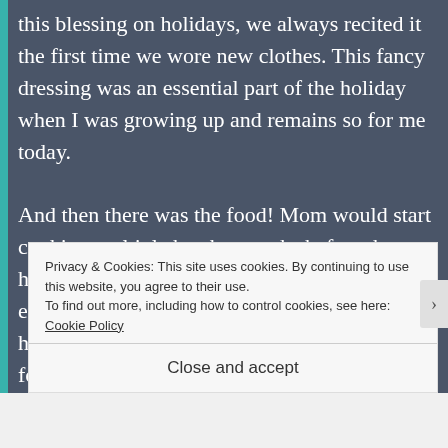this blessing on holidays, we always recited it the first time we wore new clothes. This fancy dressing was an essential part of the holiday when I was growing up and remains so for me today.

And then there was the food! Mom would start cooking multiple batches weeks before the holidays and freeze everything. She had to start early because there was so much food. A holiday meal had at least two main courses—for example,
Privacy & Cookies: This site uses cookies. By continuing to use this website, you agree to their use.
To find out more, including how to control cookies, see here: Cookie Policy
Close and accept